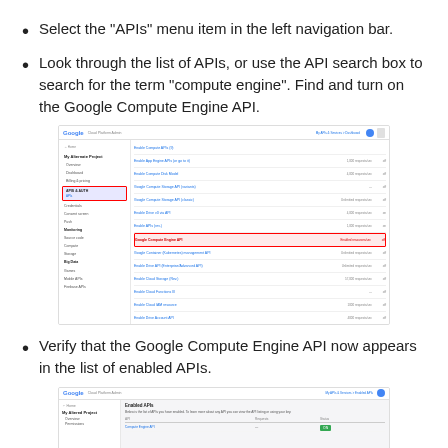Select the "APIs" menu item in the left navigation bar.
Look through the list of APIs, or use the API search box to search for the term "compute engine". Find and turn on the Google Compute Engine API.
[Figure (screenshot): Screenshot of Google API console showing list of APIs with Google Compute Engine API highlighted in a red box.]
Verify that the Google Compute Engine API now appears in the list of enabled APIs.
[Figure (screenshot): Screenshot of Google API console showing the Enabled APIs section with Google Compute Engine API listed.]